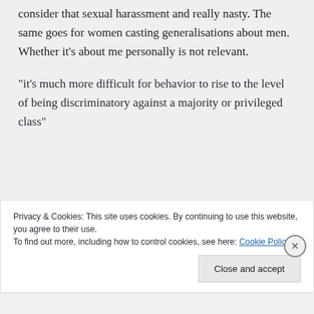consider that sexual harassment and really nasty. The same goes for women casting generalisations about men. Whether it’s about me personally is not relevant.
“it’s much more difficult for behavior to rise to the level of being discriminatory against a majority or privileged class”
Privacy & Cookies: This site uses cookies. By continuing to use this website, you agree to their use.
To find out more, including how to control cookies, see here: Cookie Policy
Close and accept